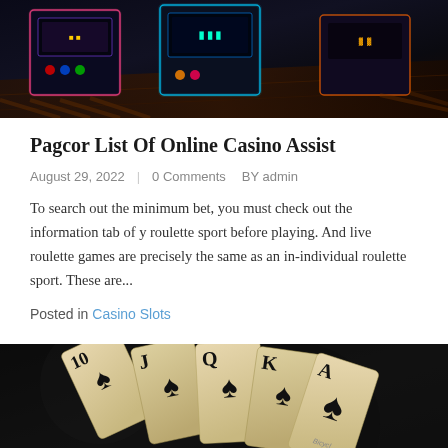[Figure (photo): Dark photo of arcade/casino gaming machines with neon lights, viewed from above at an angle]
Pagcor List Of Online Casino Assist
August 29, 2022   |   0 Comments   BY admin
To search out the minimum bet, you must check out the information tab of y roulette sport before playing. And live roulette games are precisely the same as an in-individual roulette sport. These are...
Posted in Casino Slots
[Figure (photo): Playing cards (10, J, Q, K, A of spades) fanned out on a dark textured surface, Bicycle brand cards]